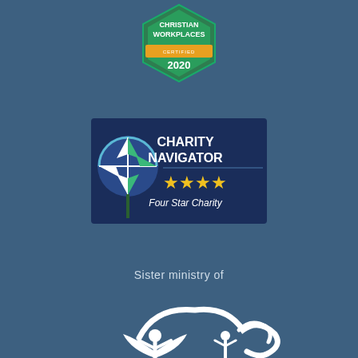[Figure (logo): Christian Workplaces Certified 2020 badge — hexagonal green/teal shape with orange accent bar and white text]
[Figure (logo): Charity Navigator Four Star Charity badge — dark blue rectangle with compass star logo on left, white bold text CHARITY NAVIGATOR, four gold stars, and italic text Four Star Charity]
Sister ministry of
[Figure (logo): Youth Haven logo — white stylized figures with raised arms under arching clouds, with bold YOUTH HAVEN text below in white]